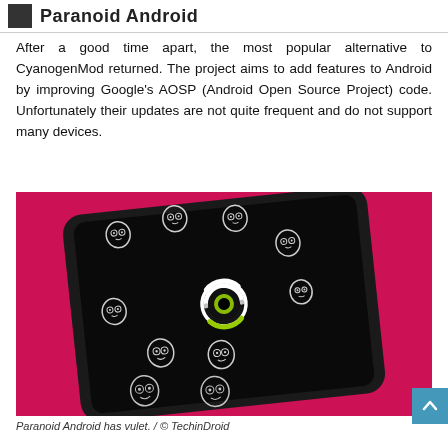Paranoid Android
After a good time apart, the most popular alternative to CyanogenMod returned. The project aims to add features to Android by improving Google's AOSP (Android Open Source Project) code. Unfortunately their updates are not quite frequent and do not support many devices.
[Figure (photo): A smartphone with a black screen displaying the Paranoid Android logo (a circular eye/target icon in white and green) surrounded by multiple small owl icons, placed on a red/pink textured background.]
Paranoid Android has vulet. / © TechinDroid